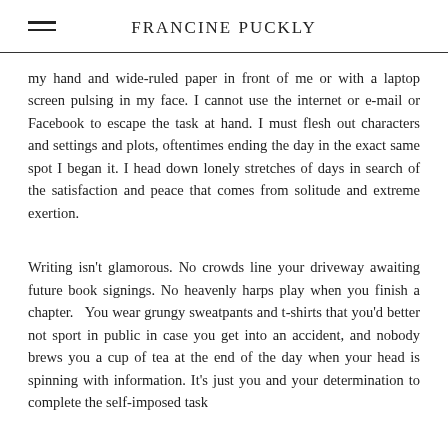FRANCINE PUCKLY
my hand and wide-ruled paper in front of me or with a laptop screen pulsing in my face. I cannot use the internet or e-mail or Facebook to escape the task at hand. I must flesh out characters and settings and plots, oftentimes ending the day in the exact same spot I began it. I head down lonely stretches of days in search of the satisfaction and peace that comes from solitude and extreme exertion.
Writing isn't glamorous. No crowds line your driveway awaiting future book signings. No heavenly harps play when you finish a chapter.  You wear grungy sweatpants and t-shirts that you'd better not sport in public in case you get into an accident, and nobody brews you a cup of tea at the end of the day when your head is spinning with information. It's just you and your determination to complete the self-imposed task